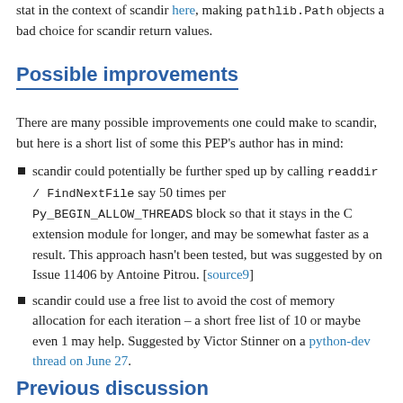stat in the context of scandir here, making pathlib.Path objects a bad choice for scandir return values.
Possible improvements
There are many possible improvements one could make to scandir, but here is a short list of some this PEP's author has in mind:
scandir could potentially be further sped up by calling readdir / FindNextFile say 50 times per Py_BEGIN_ALLOW_THREADS block so that it stays in the C extension module for longer, and may be somewhat faster as a result. This approach hasn't been tested, but was suggested by on Issue 11406 by Antoine Pitrou. [source9]
scandir could use a free list to avoid the cost of memory allocation for each iteration – a short free list of 10 or maybe even 1 may help. Suggested by Victor Stinner on a python-dev thread on June 27.
Previous discussion